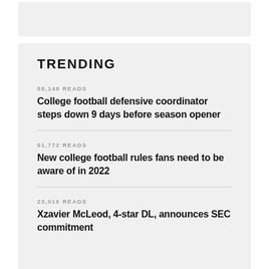[Figure (other): Gray card placeholder at top]
TRENDING
58,148 READS
College football defensive coordinator steps down 9 days before season opener
51,772 READS
New college football rules fans need to be aware of in 2022
23,016 READS
Xzavier McLeod, 4-star DL, announces SEC commitment
[Figure (other): Gray card placeholder at bottom]